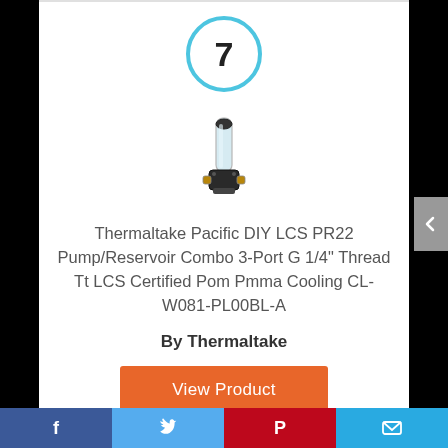7
[Figure (photo): Thermaltake Pacific DIY LCS PR22 Pump/Reservoir Combo product photo — a small cylindrical transparent reservoir with a black pump base]
Thermaltake Pacific DIY LCS PR22 Pump/Reservoir Combo 3-Port G 1/4" Thread Tt LCS Certified Pom Pmma Cooling CL-W081-PL00BL-A
By Thermaltake
View Product
Facebook | Twitter | Pinterest | Mail